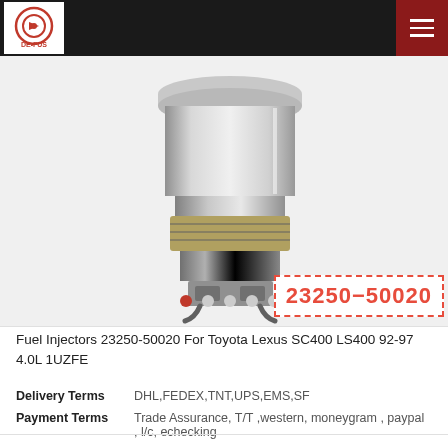DEFUS
[Figure (photo): A fuel injector (part number 23250-50020) shown in close-up, metallic silver color, with cylindrical body and connector at bottom, on white background.]
Fuel Injectors 23250-50020 For Toyota Lexus SC400 LS400 92-97 4.0L 1UZFE
|  |  |
| --- | --- |
| Delivery Terms | DHL,FEDEX,TNT,UPS,EMS,SF |
| Payment Terms | Trade Assurance, T/T ,western, moneygram , paypal , l/c, echecking |